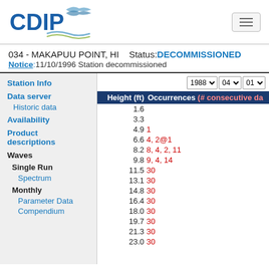CDIP logo and navigation hamburger menu
034 - MAKAPUU POINT, HI   Status: DECOMMISSIONED
Notice:11/10/1996 Station decommissioned
Station Info
Data server
Historic data
Availability
Product descriptions
Waves
Single Run
Spectrum
Monthly
Parameter Data
Compendium
| Height (ft) | Occurrences (# consecutive da... |
| --- | --- |
| 1.6 |  |
| 3.3 |  |
| 4.9 | 1 |
| 6.6 | 4, 2@1 |
| 8.2 | 8, 4, 2, 11 |
| 9.8 | 9, 4, 14 |
| 11.5 | 30 |
| 13.1 | 30 |
| 14.8 | 30 |
| 16.4 | 30 |
| 18.0 | 30 |
| 19.7 | 30 |
| 21.3 | 30 |
| 23.0 | 30 |